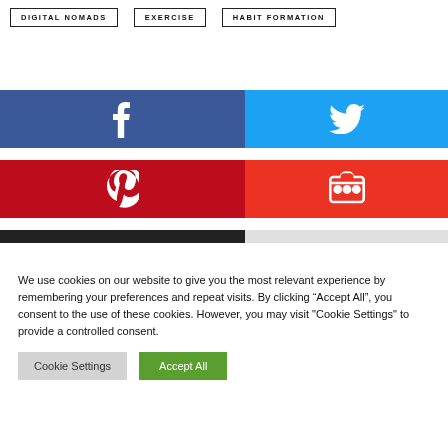DIGITAL NOMADS
EXERCISE
HABIT FORMATION
[Figure (infographic): Social sharing buttons: Facebook (dark blue), Twitter (light blue), Pinterest (dark red), StumbleUpon (red), and a dark bar below Facebook/Pinterest]
We use cookies on our website to give you the most relevant experience by remembering your preferences and repeat visits. By clicking “Accept All”, you consent to the use of these cookies. However, you may visit "Cookie Settings" to provide a controlled consent.
Cookie Settings
Accept All